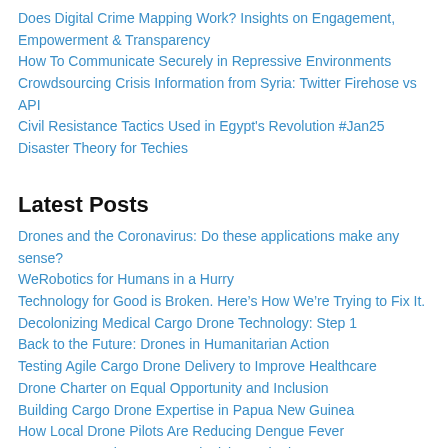Does Digital Crime Mapping Work? Insights on Engagement, Empowerment & Transparency
How To Communicate Securely in Repressive Environments
Crowdsourcing Crisis Information from Syria: Twitter Firehose vs API
Civil Resistance Tactics Used in Egypt's Revolution #Jan25
Disaster Theory for Techies
Latest Posts
Drones and the Coronavirus: Do these applications make any sense?
WeRobotics for Humans in a Hurry
Technology for Good is Broken. Here's How We're Trying to Fix It.
Decolonizing Medical Cargo Drone Technology: Step 1
Back to the Future: Drones in Humanitarian Action
Testing Agile Cargo Drone Delivery to Improve Healthcare
Drone Charter on Equal Opportunity and Inclusion
Building Cargo Drone Expertise in Papua New Guinea
How Local Drone Pilots Are Reducing Dengue Fever
How Drone Natives are Decolonizing Robotics